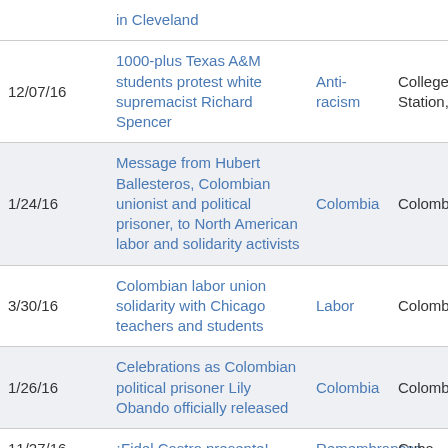| Date | Event | Topic | Location |
| --- | --- | --- | --- |
|  | in Cleveland |  |  |
| 12/07/16 | 1000-plus Texas A&M students protest white supremacist Richard Spencer | Anti-racism | College Station, TX |
| 1/24/16 | Message from Hubert Ballesteros, Colombian unionist and political prisoner, to North American labor and solidarity activists | Colombia | Colombia |
| 3/30/16 | Colombian labor union solidarity with Chicago teachers and students | Labor | Colombia |
| 1/26/16 | Celebrations as Colombian political prisoner Lily Obando officially released | Colombia | Colombia |
| 11/27/16 | ¡Fidel Castro presente! | Remembrances | Cuba |
|  | Celebrate Fidel Castro's |  |  |